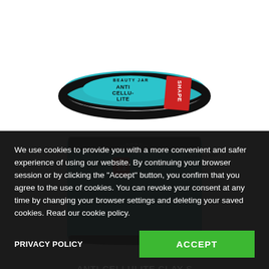[Figure (photo): Beauty Jar Anti-Cellulite Clay Scrub product jar with black lid and teal/turquoise label, viewed from slightly above. The label reads BEAUTY JAR ANTI CELLULITE CLAY SCRUB SHAPE. A red SHAPE banner is visible on the right side of the jar.]
We use cookies to provide you with a more convenient and safer experience of using our website. By continuing your browser session or by clicking the "Accept" button, you confirm that you agree to the use of cookies. You can revoke your consent at any time by changing your browser settings and deleting your saved cookies. Read our cookie policy.
PRIVACY POLICY
ACCEPT
ANTI-CELLULITE CLAY S
SHAPE